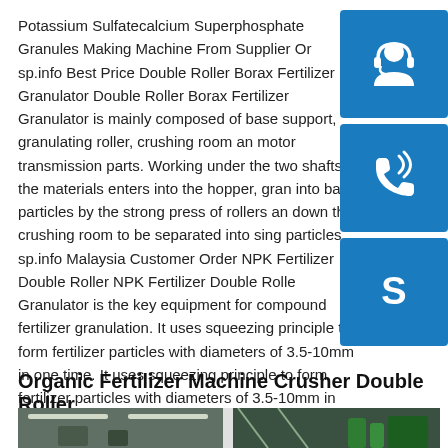Potassium Sulfatecalcium Superphosphate Granules Making Machine From Supplier Or sp.info Best Price Double Roller Borax Fertilizer Granulator Double Roller Borax Fertilizer Granulator is mainly composed of base support, granulating roller, crushing room and motor transmission parts. Working under the two shafts, the materials enters into the hopper, granulated into ball particles by the strong press of rollers and down the crushing room to be separated into single particles sp.info Malaysia Customer Order NPK Fertilizer Double Roller NPK Fertilizer Double Roller Granulator is the key equipment for compound fertilizer granulation. It uses squeezing principle to form fertilizer particles with diameters of 3.5-10mm in one time. It uses squeezing principle to form fertilizer particles with diameters of 3.5-10mm in one time.
[Figure (infographic): Three blue square icon buttons stacked vertically on the right side: a headset/customer service icon, a phone/call icon, and a Skype logo icon.]
Organic Fertilizer Machine Crusher Double Roller
[Figure (photo): Industrial warehouse or factory interior showing machinery and equipment, shown as a wide photo strip at the bottom.]